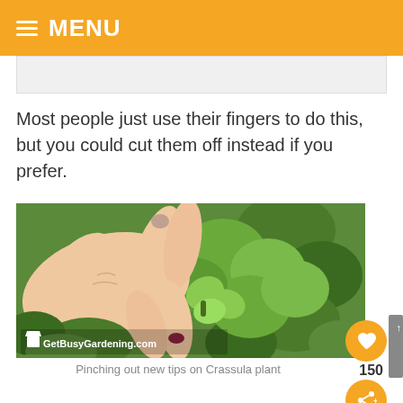MENU
Most people just use their fingers to do this, but you could cut them off instead if you prefer.
[Figure (photo): A hand with painted nails pinching the growing tip of a jade (Crassula) plant among thick green leaves. Watermark reads GetBusyGardening.com]
Pinching out new tips on Crassula plant